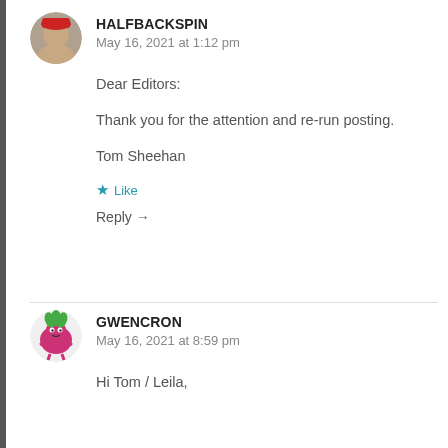HALFBACKSPIN
May 16, 2021 at 1:12 pm
Dear Editors:

Thank you for the attention and re-run posting.

Tom Sheehan
Like
Reply →
GWENCRON
May 16, 2021 at 8:59 pm
Hi Tom / Leila,